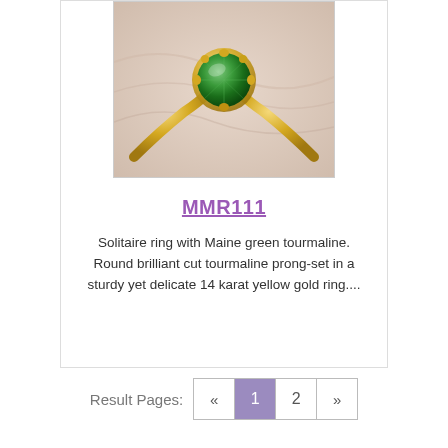[Figure (photo): A gold solitaire ring with a round green tourmaline gemstone set in prong setting, photographed on a light background.]
MMR111
Solitaire ring with Maine green tourmaline. Round brilliant cut tourmaline prong-set in a sturdy yet delicate 14 karat yellow gold ring....
Result Pages: « 1 2 »